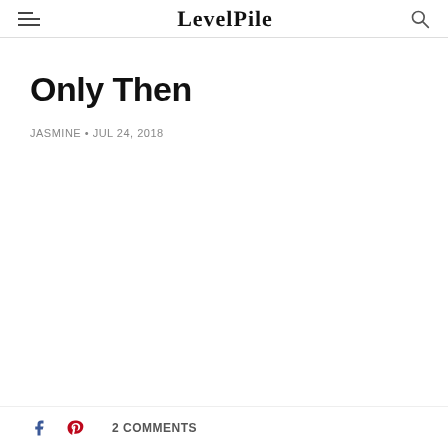LevelPile
Only Then
JASMINE • JUL 24, 2018
2 COMMENTS